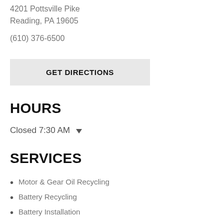4201 Pottsville Pike
Reading, PA 19605
(610) 376-6500
GET DIRECTIONS
HOURS
Closed 7:30 AM
SERVICES
Motor & Gear Oil Recycling
Battery Recycling
Battery Installation
Charging & Starting System Testing
Loaner Tools
Engine (OBD II) Code Scanning